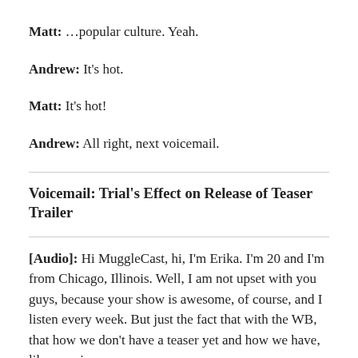Matt: …popular culture. Yeah.
Andrew: It's hot.
Matt: It's hot!
Andrew: All right, next voicemail.
Voicemail: Trial's Effect on Release of Teaser Trailer
[Audio]: Hi MuggleCast, hi, I'm Erika. I'm 20 and I'm from Chicago, Illinois. Well, I am not upset with you guys, because your show is awesome, of course, and I listen every week. But just the fact that with the WB, that how we don't have a teaser yet and how we have, like, movies